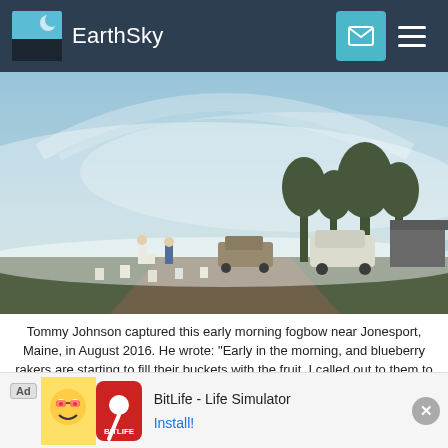EarthSky
[Figure (photo): A foggy early morning outdoor scene showing workers raking blueberries along a dirt track, with vehicles and trees visible in the background, and a fogbow arching over the misty landscape near Jonesport, Maine.]
Tommy Johnson captured this early morning fogbow near Jonesport, Maine, in August 2016. He wrote: "Early in the morning, and blueberry rakers are starting to fill their buckets with the fruit. I called out to them to look at the fogbow. It was the first time any of us had seen one."
[Figure (screenshot): Advertisement banner for BitLife - Life Simulator app with Install button]